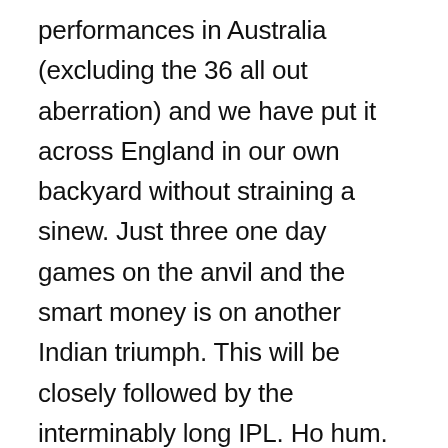performances in Australia (excluding the 36 all out aberration) and we have put it across England in our own backyard without straining a sinew. Just three one day games on the anvil and the smart money is on another Indian triumph. This will be closely followed by the interminably long IPL. Ho hum. It’s all getting a tad predictable and tedious. But that’s just me. ‘Give me excess of it,’ many instant cricket fans cry. Sooner you than me, say I.